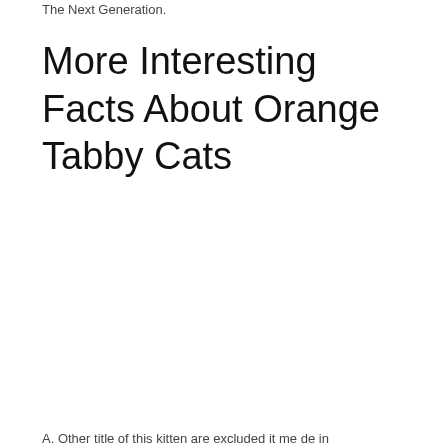The Next Generation.
More Interesting Facts About Orange Tabby Cats
A. Other title of this kitten are excluded it me de in